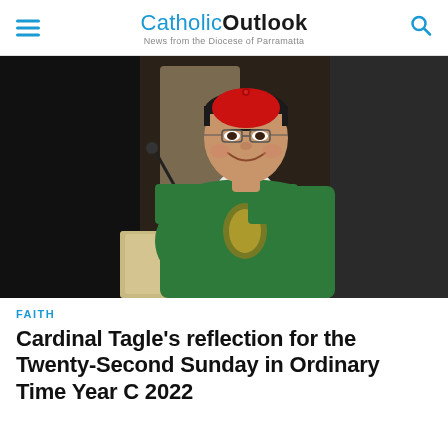Catholic Outlook — News from the Diocese of Parramatta
[Figure (photo): Cardinal Tagle smiling at a podium, wearing green vestments and a red cardinal zucchetto]
FAITH
Cardinal Tagle's reflection for the Twenty-Second Sunday in Ordinary Time Year C 2022